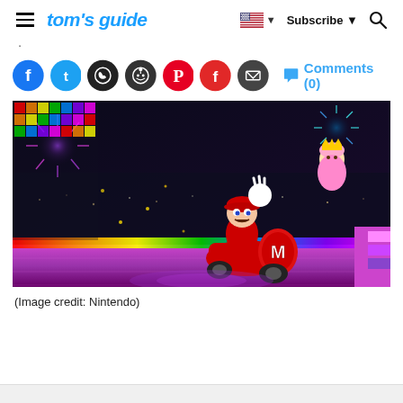tom's guide — Subscribe — [search]
·
Social share icons: Facebook, Twitter, WhatsApp, Reddit, Pinterest, Flipboard, Email | Comments (0)
[Figure (photo): Mario Kart 8 Deluxe game screenshot showing Mario racing on a rainbow road track with fireworks, Princess Peach in background, colorful neon lights]
(Image credit: Nintendo)